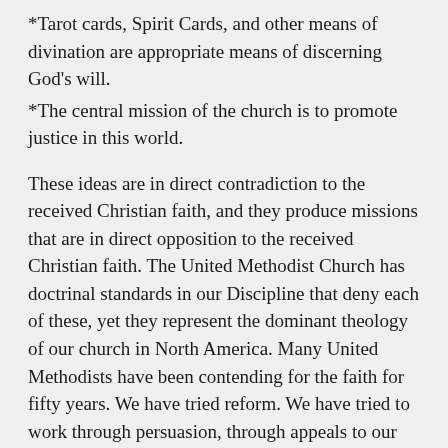*Tarot cards, Spirit Cards, and other means of divination are appropriate means of discerning God’s will.
*The central mission of the church is to promote justice in this world.
These ideas are in direct contradiction to the received Christian faith, and they produce missions that are in direct opposition to the received Christian faith. The United Methodist Church has doctrinal standards in our Discipline that deny each of these, yet they represent the dominant theology of our church in North America. Many United Methodists have been contending for the faith for fifty years. We have tried reform. We have tried to work through persuasion, through appeals to our missional agencies, through General Conference, and through revisions to our